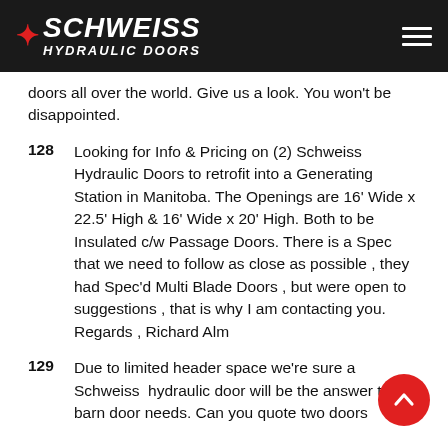Schweiss Hydraulic Doors
doors all over the world. Give us a look. You won't be disappointed.
128 Looking for Info & Pricing on (2) Schweiss Hydraulic Doors to retrofit into a Generating Station in Manitoba. The Openings are 16' Wide x 22.5' High & 16' Wide x 20' High. Both to be Insulated c/w Passage Doors. There is a Spec that we need to follow as close as possible , they had Spec'd Multi Blade Doors , but were open to suggestions , that is why I am contacting you. Regards , Richard Alm
129 Due to limited header space we're sure a Schweiss hydraulic door will be the answer to our barn door needs. Can you quote two doors